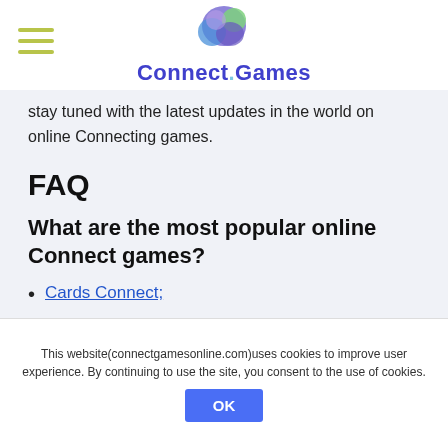Connect.Games
stay tuned with the latest updates in the world on online Connecting games.
FAQ
What are the most popular online Connect games?
Cards Connect;
Connect A Dot:
This website(connectgamesonline.com)uses cookies to improve user experience. By continuing to use the site, you consent to the use of cookies.